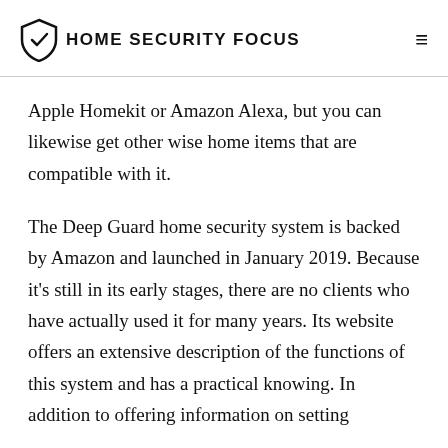HOME SECURITY FOCUS
Apple Homekit or Amazon Alexa, but you can likewise get other wise home items that are compatible with it.
The Deep Guard home security system is backed by Amazon and launched in January 2019. Because it’s still in its early stages, there are no clients who have actually used it for many years. Its website offers an extensive description of the functions of this system and has a practical knowing. In addition to offering information on setting